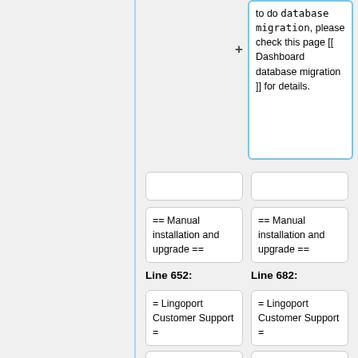to do <code>database migration</code>, please check this page [[ Dashboard database migration ]] for details.
== Manual installation and upgrade ==
== Manual installation and upgrade ==
Line 652:
Line 682:
= Lingoport Customer Support =
= Lingoport Customer Support =
If you experience difficulties during the installation of...
If you experience difficulties during the installation of...